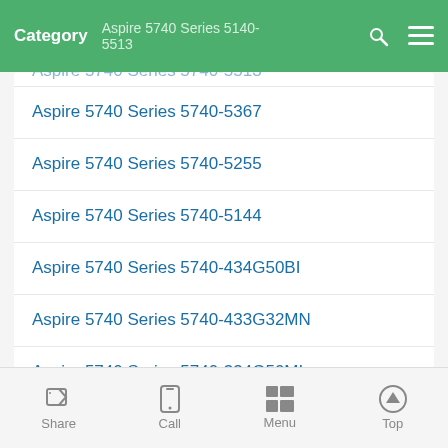Category  Aspire 5740 Series 5140-5513
Aspire 5740 Series 5740-5367
Aspire 5740 Series 5740-5255
Aspire 5740 Series 5740-5144
Aspire 5740 Series 5740-434G50BI
Aspire 5740 Series 5740-433G32MN
Aspire 5740 Series 5740-334G50MI
Share  Call  Menu  Top